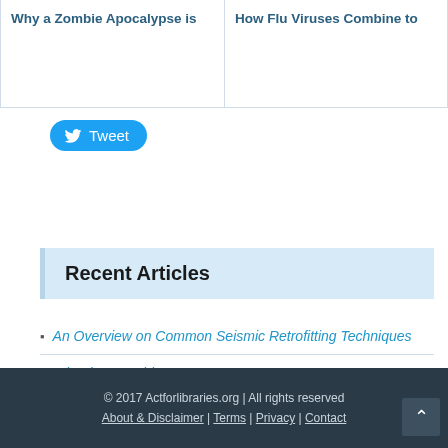Why a Zombie Apocalypse is
How Flu Viruses Combine to
[Figure (other): Tweet button with Twitter bird icon]
Recent Articles
An Overview on Common Seismic Retrofitting Techniques
What is a Zombie Star
© 2017 Actforlibraries.org | All rights reserved
About & Disclaimer | Terms | Privacy | Contact